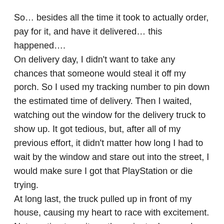So… besides all the time it took to actually order, pay for it, and have it delivered… this happened….
On delivery day, I didn't want to take any chances that someone would steal it off my porch. So I used my tracking number to pin down the estimated time of delivery. Then I waited, watching out the window for the delivery truck to show up. It got tedious, but, after all of my previous effort, it didn't matter how long I had to wait by the window and stare out into the street, I would make sure I got that PlayStation or die trying.
At long last, the truck pulled up in front of my house, causing my heart to race with excitement. Not wanting to wait another minute, I opened my door and stood out in the cold while the delivery guy got my package. It seemed to take him a long time to leave the truck, and I was